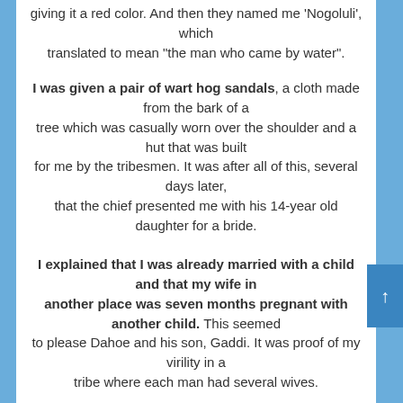giving it a red color. And then they named me 'Nogoluli', which translated to mean "the man who came by water".
I was given a pair of wart hog sandals, a cloth made from the bark of a tree which was casually worn over the shoulder and a hut that was built for me by the tribesmen. It was after all of this, several days later, that the chief presented me with his 14-year old daughter for a bride.
I explained that I was already married with a child and that my wife in another place was seven months pregnant with another child. This seemed to please Dahoe and his son, Gaddi. It was proof of my virility in a tribe where each man had several wives.